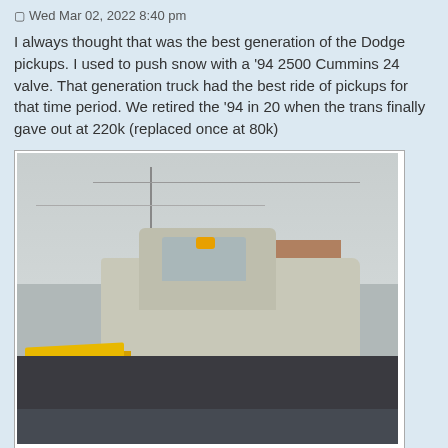Wed Mar 02, 2022 8:40 pm
I always thought that was the best generation of the Dodge pickups. I used to push snow with a '94 2500 Cummins 24 valve. That generation truck had the best ride of pickups for that time period. We retired the '94 in 20 when the trans finally gave out at 220k (replaced once at 80k)
[Figure (photo): A grey Dodge pickup truck with a yellow snow plow blade attached to the front, parked in a wet parking lot on an overcast day.]